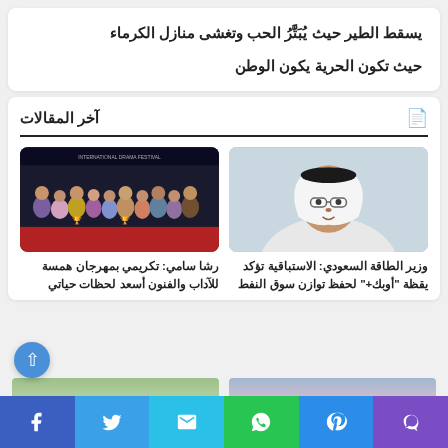يسقط الطير حيث يُبَتَّرُ الحب وتغشى منازل الكرماء
حيث تكون الحرية يكون الوطن
آخر المقالات
[Figure (photo): Portrait photo of a Saudi man wearing traditional white thobe and headscarf]
وزير الطاقة السعودي: الاستباقية تؤكد يقظة "أوبك+" لحفظ توازن سوق النفط
[Figure (photo): Group photo at the International Drama Festival for Literature and Arts, people standing on a red carpet]
رشا سامي: تكريمي بمهرجان همسة للآداب والفنون أسعد لحظات حياتي